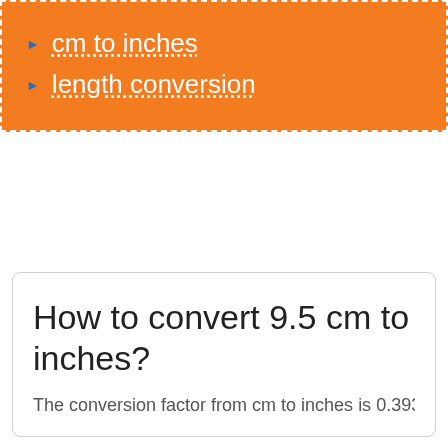cm to inches
length conversion
How to convert 9.5 cm to inches?
The conversion factor from cm to inches is 0.393700787